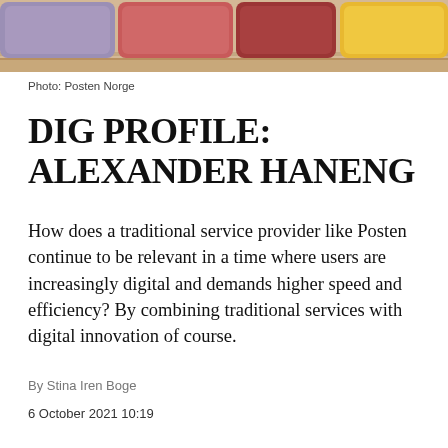[Figure (photo): Colorful cushions (purple, red/pink, wine red, and yellow) arranged on a wooden shelf or bench, cropped to show tops of cushions against a light wooden background.]
Photo: Posten Norge
DIG PROFILE: ALEXANDER HANENG
How does a traditional service provider like Posten continue to be relevant in a time where users are increasingly digital and demands higher speed and efficiency? By combining traditional services with digital innovation of course.
By Stina Iren Boge
6 October 2021 10:19